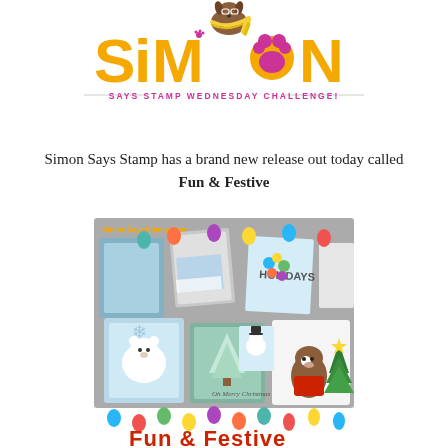[Figure (logo): Simon Says Stamp Wednesday Challenge logo featuring a cartoon dog with glasses and a yellow striped scarf, large orange 'SIMON' text with a paw print replacing a letter O, and tagline 'SAYS STAMP WEDNESDAY CHALLENGE!' in pink/magenta]
Simon Says Stamp has a brand new release out today called Fun & Festive
[Figure (photo): Product photo showing the 'Fun & Festive' stamp release collection by Simon Says Stamp, featuring multiple handmade holiday cards with Christmas scenes, a polar bear, snowman, Christmas tree, dog in holiday attire, colorful balloons, and the 'Fun & Festive' title text at the bottom with the SimonSaysStamp.com watermark]